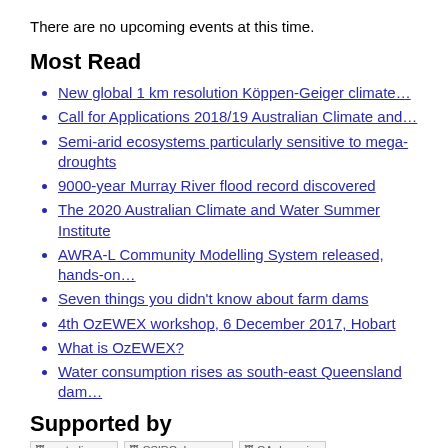There are no upcoming events at this time.
Most Read
New global 1 km resolution Köppen-Geiger climate…
Call for Applications 2018/19 Australian Climate and…
Semi-arid ecosystems particularly sensitive to mega-droughts
9000-year Murray River flood record discovered
The 2020 Australian Climate and Water Summer Institute
AWRA-L Community Modelling System released, hands-on…
Seven things you didn't know about farm dams
4th OzEWEX workshop, 6 December 2017, Hobart
What is OzEWEX?
Water consumption rises as south-east Queensland dam…
Supported by
[Figure (logo): Logos: australiangov, CSIRO_Logo.svg, GA_Logo.jpg]